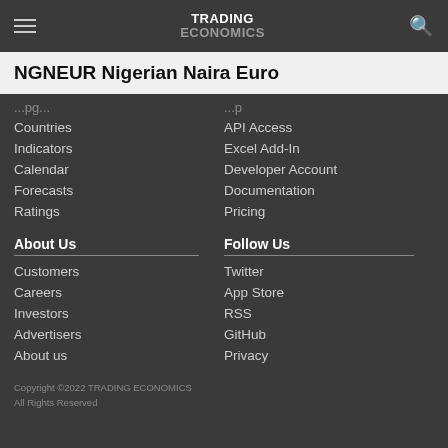TRADING ECONOMICS
NGNEUR Nigerian Naira Euro
Countries
Indicators
Calendar
Forecasts
Ratings
API Access
Excel Add-In
Developer Account
Documentation
Pricing
About Us
Customers
Careers
Investors
Advertisers
About us
Follow Us
Twitter
App Store
RSS
GitHub
Privacy
Copyright ©2022 TRADING ECONOMICS
All Rights Reserved